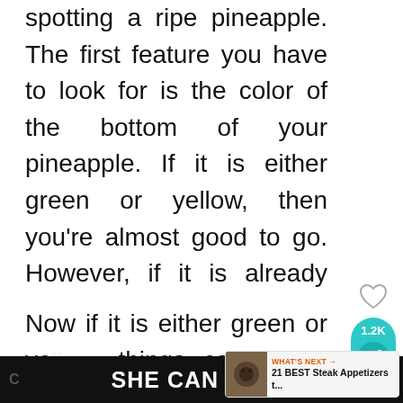spotting a ripe pineapple. The first feature you have to look for is the color of the bottom of your pineapple. If it is either green or yellow, then you're almost good to go. However, if it is already brown, you should not even take a second glance at it.
Now if it is either green or ye[llow,] things can get a little tricky.
[Figure (screenshot): Social media sidebar with heart/like icon and share button showing 1.2K count in teal pill shape]
[Figure (screenshot): What's Next banner with food image thumbnail, label 'WHAT'S NEXT →', and title '21 BEST Steak Appetizers t...']
SHE CAN STEM